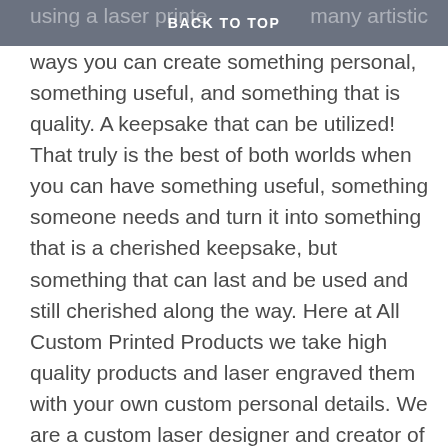BACK TO TOP
using a laser printer. There are so many artistic ways you can create something personal, something useful, and something that is quality. A keepsake that can be utilized! That truly is the best of both worlds when you can have something useful, something someone needs and turn it into something that is a cherished keepsake, but something that can last and be used and still cherished along the way. Here at All Custom Printed Products we take high quality products and laser engraved them with your own custom personal details. We are a custom laser designer and creator of many high quality and useful products that are great for both gift giving and wedding products and gifts. I hope you can find something on our sites, we have two main webstores, our main webstore and our Etsy Store with the links provided below. Each one of our webstore store hosts different products so please